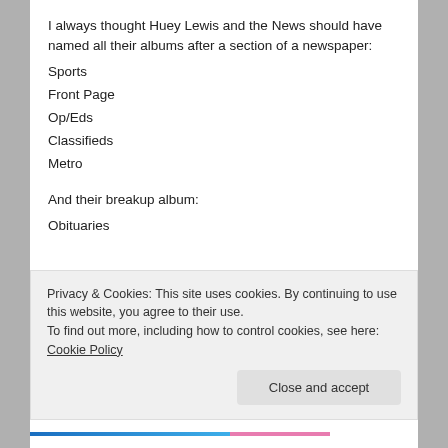I always thought Huey Lewis and the News should have named all their albums after a section of a newspaper:
Sports
Front Page
Op/Eds
Classifieds
Metro
And their breakup album:
Obituaries
★ Like
Privacy & Cookies: This site uses cookies. By continuing to use this website, you agree to their use.
To find out more, including how to control cookies, see here: Cookie Policy
Close and accept